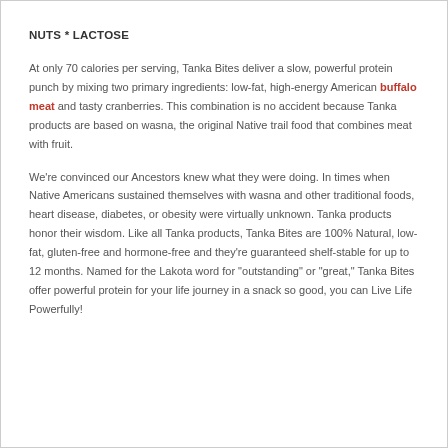NUTS * LACTOSE
At only 70 calories per serving, Tanka Bites deliver a slow, powerful protein punch by mixing two primary ingredients: low-fat, high-energy American buffalo meat and tasty cranberries. This combination is no accident because Tanka products are based on wasna, the original Native trail food that combines meat with fruit.
We're convinced our Ancestors knew what they were doing. In times when Native Americans sustained themselves with wasna and other traditional foods, heart disease, diabetes, or obesity were virtually unknown. Tanka products honor their wisdom. Like all Tanka products, Tanka Bites are 100% Natural, low-fat, gluten-free and hormone-free and they're guaranteed shelf-stable for up to 12 months. Named for the Lakota word for "outstanding" or "great," Tanka Bites offer powerful protein for your life journey in a snack so good, you can Live Life Powerfully!